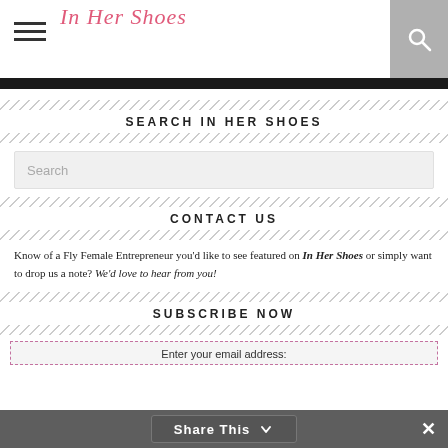In Her Shoes — hamburger menu, logo, search icon
SEARCH IN HER SHOES
Search
CONTACT US
Know of a Fly Female Entrepreneur you'd like to see featured on In Her Shoes or simply want to drop us a note? We'd love to hear from you!
SUBSCRIBE NOW
Enter your email address:
Share This